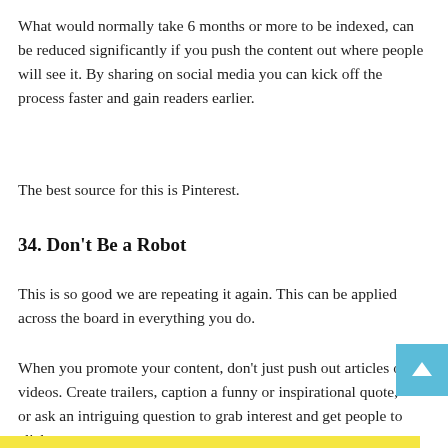What would normally take 6 months or more to be indexed, can be reduced significantly if you push the content out where people will see it. By sharing on social media you can kick off the process faster and gain readers earlier.
The best source for this is Pinterest.
34. Don't Be a Robot
This is so good we are repeating it again. This can be applied across the board in everything you do.
When you promote your content, don't just push out articles or videos. Create trailers, caption a funny or inspirational quote, or ask an intriguing question to grab interest and get people to click.